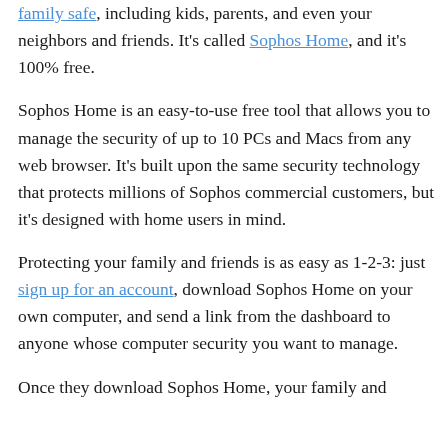family safe, including kids, parents, and even your neighbors and friends. It's called Sophos Home, and it's 100% free.
Sophos Home is an easy-to-use free tool that allows you to manage the security of up to 10 PCs and Macs from any web browser. It's built upon the same security technology that protects millions of Sophos commercial customers, but it's designed with home users in mind.
Protecting your family and friends is as easy as 1-2-3: just sign up for an account, download Sophos Home on your own computer, and send a link from the dashboard to anyone whose computer security you want to manage.
Once they download Sophos Home, your family and